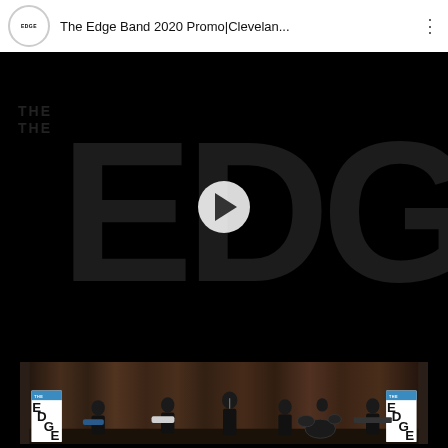[Figure (screenshot): YouTube video player interface showing 'The Edge Band 2020 Promo|Clevelan...' with Edge logo circle top left, three-dot menu top right, large THE EDGE text logo on black background as video thumbnail with play button, and a band performance photo below showing 6 musicians on a stage with curtain backdrop and The Edge branded banners on either side.]